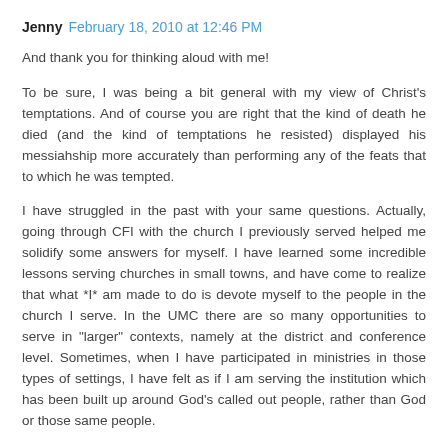Jenny  February 18, 2010 at 12:46 PM
And thank you for thinking aloud with me!
To be sure, I was being a bit general with my view of Christ's temptations. And of course you are right that the kind of death he died (and the kind of temptations he resisted) displayed his messiahship more accurately than performing any of the feats that to which he was tempted.
I have struggled in the past with your same questions. Actually, going through CFI with the church I previously served helped me solidify some answers for myself. I have learned some incredible lessons serving churches in small towns, and have come to realize that what *I* am made to do is devote myself to the people in the church I serve. In the UMC there are so many opportunities to serve in "larger" contexts, namely at the district and conference level. Sometimes, when I have participated in ministries in those types of settings, I have felt as if I am serving the institution which has been built up around God's called out people, rather than God or those same people.